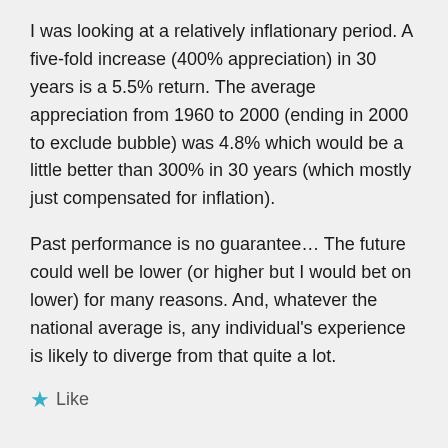I was looking at a relatively inflationary period. A five-fold increase (400% appreciation) in 30 years is a 5.5% return. The average appreciation from 1960 to 2000 (ending in 2000 to exclude bubble) was 4.8% which would be a little better than 300% in 30 years (which mostly just compensated for inflation).
Past performance is no guarantee… The future could well be lower (or higher but I would bet on lower) for many reasons. And, whatever the national average is, any individual's experience is likely to diverge from that quite a lot.
Like